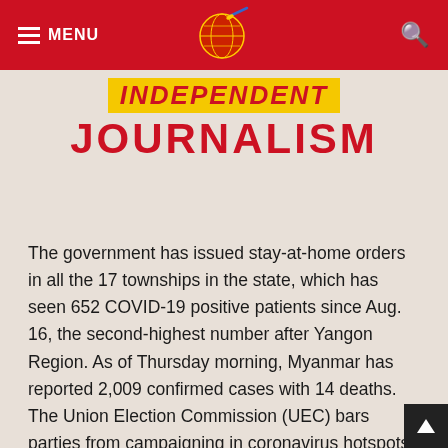MENU | Independent Journalism logo | Search
INDEPENDENT JOURNALISM
The government has issued stay-at-home orders in all the 17 townships in the state, which has seen 652 COVID-19 positive patients since Aug. 16, the second-highest number after Yangon Region. As of Thursday morning, Myanmar has reported 2,009 confirmed cases with 14 deaths. The Union Election Commission (UEC) bars parties from campaigning in coronavirus hotspots where stay-at-home orders are in effect.